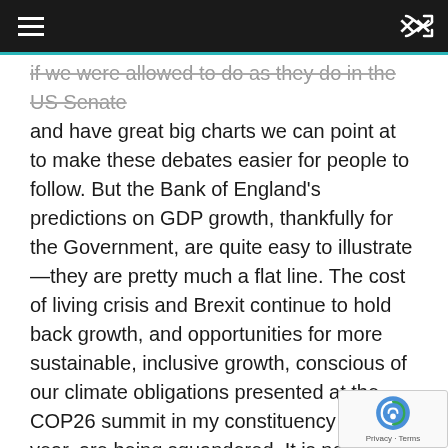☰  ⇌
if we were allowed to do as they do in the US Senate and have great big charts we can point at to make these debates easier for people to follow. But the Bank of England's predictions on GDP growth, thankfully for the Government, are quite easy to illustrate—they are pretty much a flat line. The cost of living crisis and Brexit continue to hold back growth, and opportunities for more sustainable, inclusive growth, conscious of our climate obligations presented at the COP26 summit in my constituency last year, are being squandered. It is not so much a Union dividend as a stagnant economy. It does not have to be this way.
We need to recognise that the endless pursuit of GDP growth at any cost destroys communities and the planet. Growth should be inclusive and should